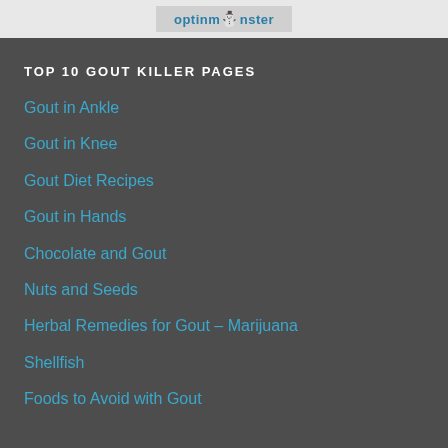optinmonster
TOP 10 GOUT KILLER PAGES
Gout in Ankle
Gout in Knee
Gout Diet Recipes
Gout in Hands
Chocolate and Gout
Nuts and Seeds
Herbal Remedies for Gout – Marijuana
Shellfish
Foods to Avoid with Gout